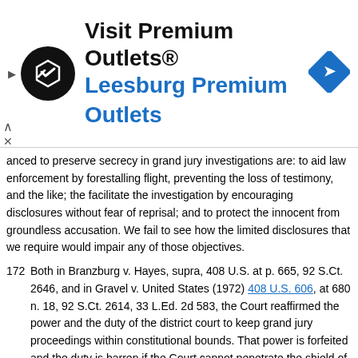[Figure (other): Advertisement banner for Visit Premium Outlets® / Leesburg Premium Outlets with circular logo and navigation icon]
anced to preserve secrecy in grand jury investigations are: to aid law enforcement by forestalling flight, preventing the loss of testimony, and the like; the facilitate the investigation by encouraging disclosures without fear of reprisal; and to protect the innocent from groundless accusation. We fail to see how the limited disclosures that we require would impair any of those objectives.
172 Both in Branzburg v. Hayes, supra, 408 U.S. at p. 665, 92 S.Ct. 2646, and in Gravel v. United States (1972) 408 U.S. 606, at 680 n. 18, 92 S.Ct. 2614, 33 L.Ed. 2d 583, the Court reaffirmed the power and the duty of the district court to keep grand jury proceedings within constitutional bounds. That power is forfeited and the duty is barren if the Court cannot penetrate the shield of secrecy enough to see any assaults upon the consitutional ramparts.
173 The petition for rehearing is denied. The full court has been advised of the suggestion for an en banc hearing. No judge has requested a vote thereon. Accordingly, the suggestion for a rehearing en banc is